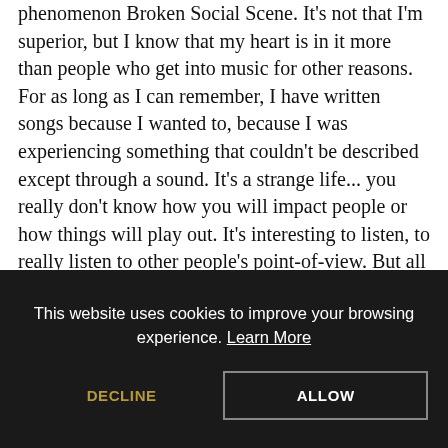phenomenon Broken Social Scene. It's not that I'm superior, but I know that my heart is in it more than people who get into music for other reasons. For as long as I can remember, I have written songs because I wanted to, because I was experiencing something that couldn't be described except through a sound. It's a strange life... you really don't know how you will impact people or how things will play out. It's interesting to listen, to really listen to other people's point-of-view. But all my extended family is American, I've held an American passport and I've spent my whole adult life in between New York and LA. But its crazy-like ten percent a year increase of children taking @#$%& anti-depressants. View agent, publicist, legal and company contact details on IMDbPro. Born in Vancouver, B.C. Actually, more and more my direction is trying to get further away from being self-conscious of what the parameters are of the mainstream, where
This website uses cookies to improve your browsing experience. Learn More
DECLINE
ALLOW